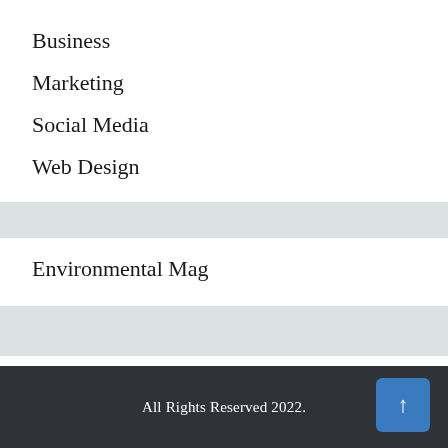Business
Marketing
Social Media
Web Design
Environmental Mag
All Rights Reserved 2022.